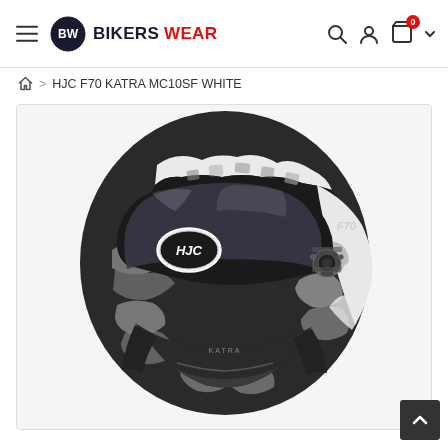BIKERS WEAR — navigation header with hamburger menu, logo, search, account, and cart icons
Home > HJC F70 KATRA MC10SF WHITE
[Figure (photo): HJC F70 KATRA MC10SF WHITE motorcycle helmet in black/white/grey camouflage pattern with clear visor, shown on a white background. The HJC logo is visible on the side. The helmet has a full-face design with an F70 badge and intricate hexagonal camo graphic detailing.]